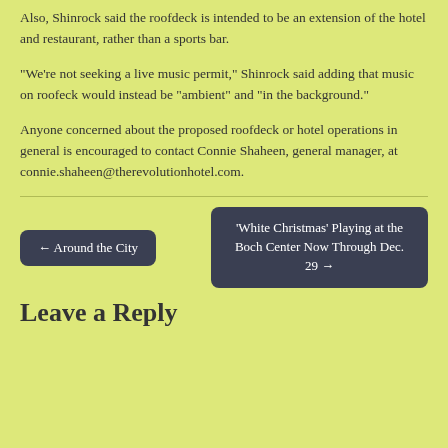Also, Shinrock said the roofdeck is intended to be an extension of the hotel and restaurant, rather than a sports bar.
“We’re not seeking a live music permit,” Shinrock said adding that music on roofeck would instead be “ambient” and “in the background.”
Anyone concerned about the proposed roofdeck or hotel operations in general is encouraged to contact Connie Shaheen, general manager, at connie.shaheen@therevolutionhotel.com.
← Around the City
‘White Christmas’ Playing at the Boch Center Now Through Dec. 29 →
Leave a Reply